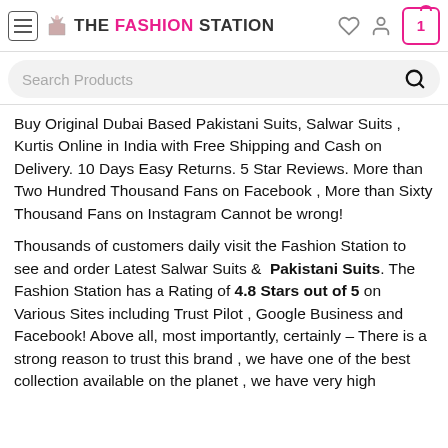THE FASHION STATION
Search Products
Buy Original Dubai Based Pakistani Suits, Salwar Suits , Kurtis Online in India with Free Shipping and Cash on Delivery. 10 Days Easy Returns. 5 Star Reviews. More than Two Hundred Thousand Fans on Facebook , More than Sixty Thousand Fans on Instagram Cannot be wrong!
Thousands of customers daily visit the Fashion Station to see and order Latest Salwar Suits & Pakistani Suits. The Fashion Station has a Rating of 4.8 Stars out of 5 on Various Sites including Trust Pilot , Google Business and Facebook! Above all, most importantly, certainly – There is a strong reason to trust this brand , we have one of the best collection available on the planet , we have very high